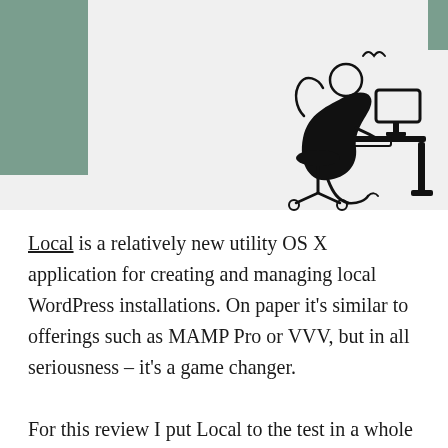[Figure (illustration): Line drawing illustration of a person sitting at a desk working at a computer, with motion lines suggesting typing or working]
Local is a relatively new utility OS X application for creating and managing local WordPress installations. On paper it's similar to offerings such as MAMP Pro or VVV, but in all seriousness – it's a game changer.

For this review I put Local to the test in a whole